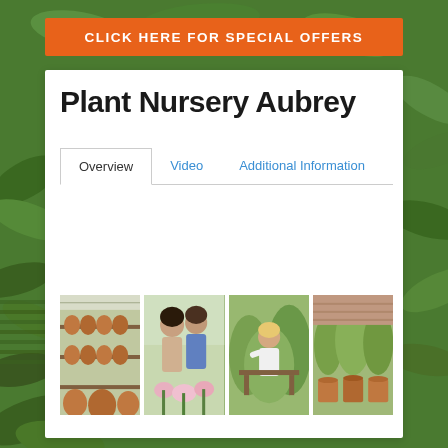[Figure (photo): Green leafy plant background covering the entire page]
CLICK HERE FOR SPECIAL OFFERS
Plant Nursery Aubrey
Overview | Video | Additional Information (tab navigation)
[Figure (photo): Photo strip showing four nursery images: shelves with terracotta pots, two people looking at flowers, person working among plants, plants with terracotta pots]